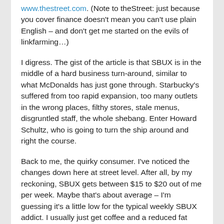www.thestreet.com. (Note to theStreet: just because you cover finance doesn't mean you can't use plain English – and don't get me started on the evils of linkfarming…)
I digress. The gist of the article is that SBUX is in the middle of a hard business turn-around, similar to what McDonalds has just gone through. Starbucky's suffered from too rapid expansion, too many outlets in the wrong places, filthy stores, stale menus, disgruntled staff, the whole shebang. Enter Howard Schultz, who is going to turn the ship around and right the course.
Back to me, the quirky consumer. I've noticed the changes down here at street level. After all, by my reckoning, SBUX gets between $15 to $20 out of me per week. Maybe that's about average – I'm guessing it's a little low for the typical weekly SBUX addict. I usually just get coffee and a reduced fat coffee cake in the morning. I don't often go for the 3:30 latte or whatever. The quirky bit: I just ask for a simple, dark roast coffee. I'm generally not interested in espresso drinks, unless I'm craving a